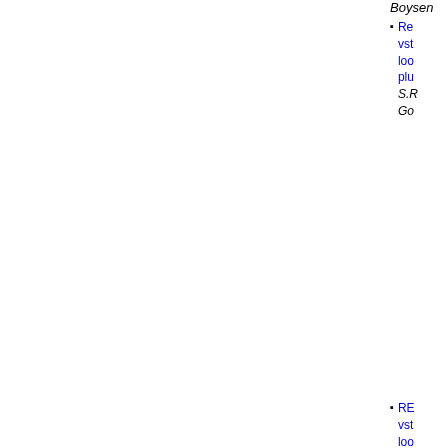Boysen
Re vst loo plu S.R Go
RE vst loo